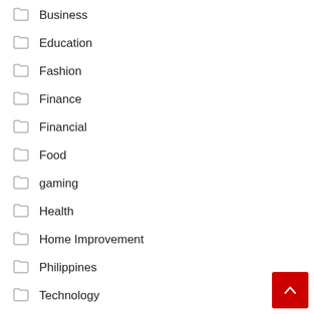Business
Education
Fashion
Finance
Financial
Food
gaming
Health
Home Improvement
Philippines
Technology
Travel